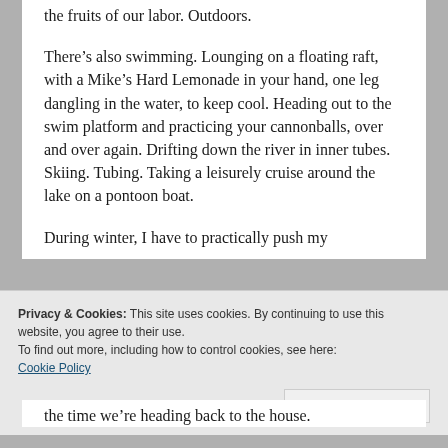the fruits of our labor. Outdoors.
There’s also swimming. Lounging on a floating raft, with a Mike’s Hard Lemonade in your hand, one leg dangling in the water, to keep cool. Heading out to the swim platform and practicing your cannonballs, over and over again. Drifting down the river in inner tubes. Skiing. Tubing. Taking a leisurely cruise around the lake on a pontoon boat.
During winter, I have to practically push my
Privacy & Cookies: This site uses cookies. By continuing to use this website, you agree to their use.
To find out more, including how to control cookies, see here:
Cookie Policy
Close and accept
the time we’re heading back to the house.